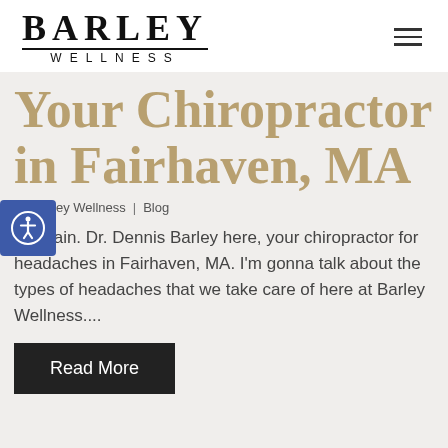BARLEY WELLNESS
Your Chiropractor in Fairhaven, MA
By Barley Wellness | Blog
Hi again. Dr. Dennis Barley here, your chiropractor for headaches in Fairhaven, MA. I'm gonna talk about the types of headaches that we take care of here at Barley Wellness....
Read More